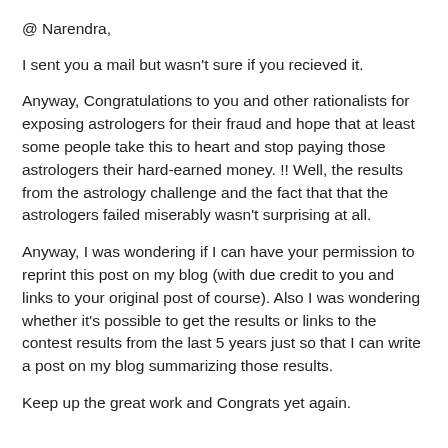@ Narendra,
I sent you a mail but wasn't sure if you recieved it.
Anyway, Congratulations to you and other rationalists for exposing astrologers for their fraud and hope that at least some people take this to heart and stop paying those astrologers their hard-earned money. !! Well, the results from the astrology challenge and the fact that that the astrologers failed miserably wasn't surprising at all.
Anyway, I was wondering if I can have your permission to reprint this post on my blog (with due credit to you and links to your original post of course). Also I was wondering whether it's possible to get the results or links to the contest results from the last 5 years just so that I can write a post on my blog summarizing those results.
Keep up the great work and Congrats yet again.